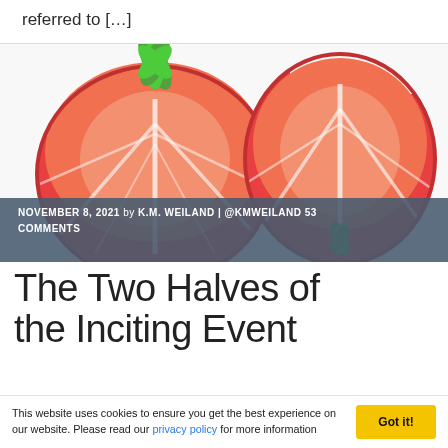referred to […]
[Figure (photo): Two halves of a strawberry cut lengthwise, showing the red interior flesh and white core veins. Left half has the green leafy stem attached. Both are on a white background.]
NOVEMBER 8, 2021 by K.M. WEILAND | @KMWEILAND   53 COMMENTS
The Two Halves of the Inciting Event
This website uses cookies to ensure you get the best experience on our website. Please read our privacy policy for more information